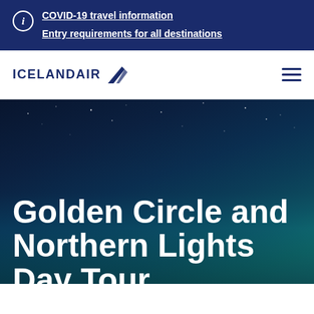COVID-19 travel information
Entry requirements for all destinations
[Figure (logo): Icelandair logo with stylized tail fin icon and wordmark ICELANDAIR in dark navy blue]
Golden Circle and Northern Lights Day Tour